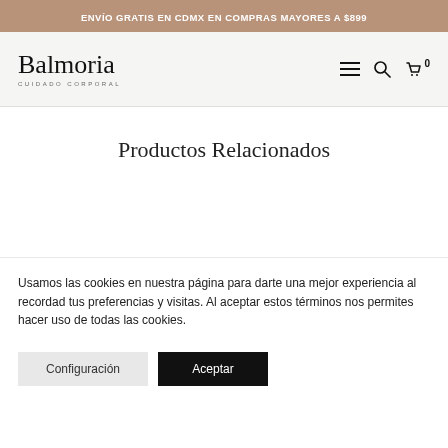ENVÍO GRATIS EN CDMX EN COMPRAS MAYORES A $899
[Figure (logo): Balmoria Cuidado Corporal logo with hamburger menu, search icon, and cart with 0 items]
Productos Relacionados
Usamos las cookies en nuestra página para darte una mejor experiencia al recordad tus preferencias y visitas. Al aceptar estos términos nos permites hacer uso de todas las cookies.
Configuración
Aceptar